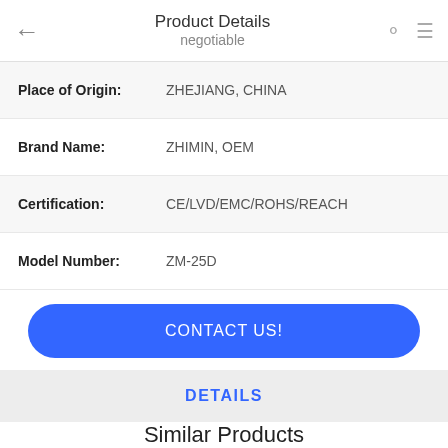Product Details / negotiable
| Field | Value |
| --- | --- |
| Place of Origin: | ZHEJIANG, CHINA |
| Brand Name: | ZHIMIN, OEM |
| Certification: | CE/LVD/EMC/ROHS/REACH |
| Model Number: | ZM-25D |
CONTACT US!
DETAILS
Similar Products